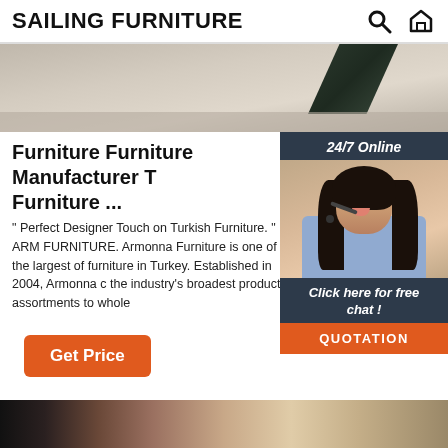SAILING FURNITURE
[Figure (photo): Hero banner image showing light wood-grain flooring texture with a dark geometric shape in the upper right area]
Furniture Furniture Manufacturer Turkish Furniture ...
" Perfect Designer Touch on Turkish Furniture. " ARMONNA FURNITURE. Armonna Furniture is one of the largest manufacturers of furniture in Turkey. Established in 2004, Armonna offers the industry's broadest product assortments to whole...
[Figure (photo): 24/7 Online chat widget with a customer support woman wearing a headset, blue shirt, smiling. Includes 'Click here for free chat!' text and an orange QUOTATION button.]
Get Price
[Figure (photo): Bottom strip image showing dark furniture pieces / wood textures]